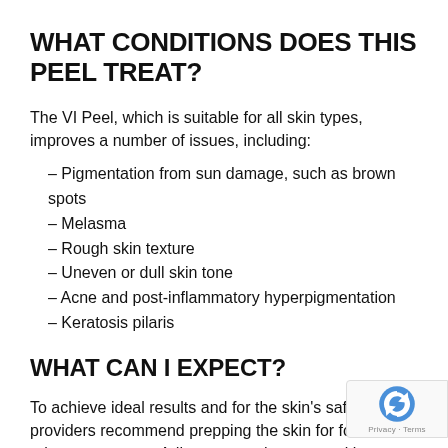WHAT CONDITIONS DOES THIS PEEL TREAT?
The VI Peel, which is suitable for all skin types, improves a number of issues, including:
– Pigmentation from sun damage, such as brown spots
– Melasma
– Rough skin texture
– Uneven or dull skin tone
– Acne and post-inflammatory hyperpigmentation
– Keratosis pilaris
WHAT CAN I EXPECT?
To achieve ideal results and for the skin's safety, our providers recommend prepping the skin for four week prior to treatment. Adherence to the proper skincare regimen before the procedure can enhance effectiveness